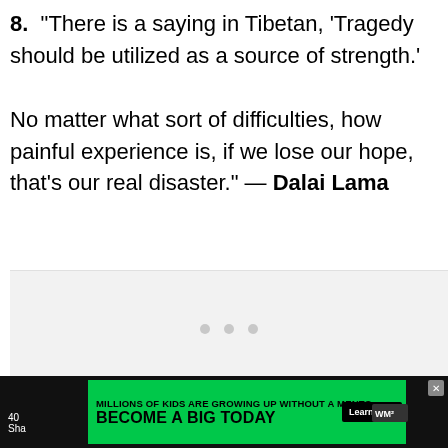8. “There is a saying in Tibetan, ‘Tragedy should be utilized as a source of strength.’ No matter what sort of difficulties, how painful experience is, if we lose our hope, that’s our real disaster.” — Dalai Lama
[Figure (other): Gray placeholder box with three dots indicating loading content]
[Figure (other): reCAPTCHA widget with recycle-arrow icon and Privacy - Terms links]
[Figure (other): Advertisement banner: Big Brothers Big Sisters - MILLIONS OF KIDS ARE GROWING UP WITHOUT A MENTOR. BECOME A BIG TODAY. Learn How button.]